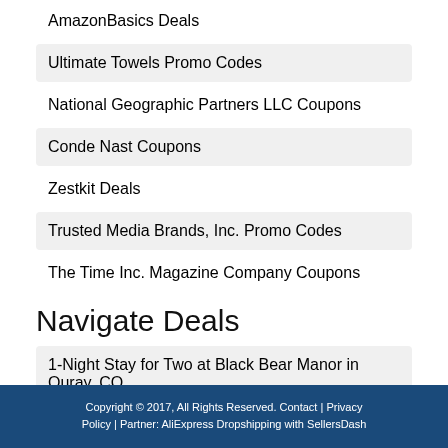AmazonBasics Deals
Ultimate Towels Promo Codes
National Geographic Partners LLC Coupons
Conde Nast Coupons
Zestkit Deals
Trusted Media Brands, Inc. Promo Codes
The Time Inc. Magazine Company Coupons
Navigate Deals
1-Night Stay for Two at Black Bear Manor in Ouray, CO
Copyright © 2017, All Rights Reserved. Contact | Privacy Policy | Partner: AliExpress Dropshipping with SellersDash